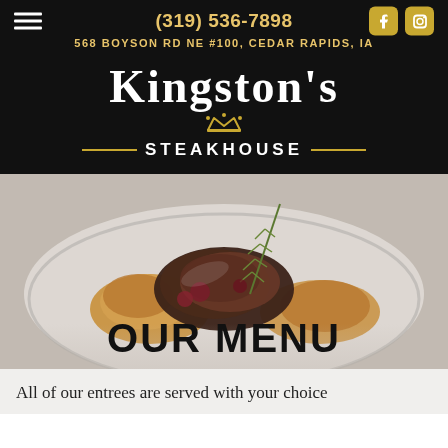(319) 536-7898
568 BOYSON RD NE #100, CEDAR RAPIDS, IA
KINGSTON'S STEAKHOUSE
[Figure (photo): Close-up photo of a plated steakhouse dish — grilled meat topped with a sprig of rosemary on a white plate, with golden-brown sides.]
OUR MENU
All of our entrees are served with your choice